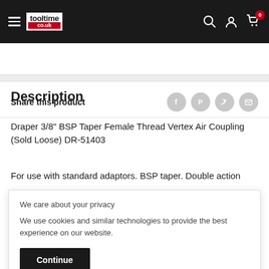tooltime.co.uk — navigation bar with hamburger menu, logo, search, account, cart (0)
Share this product
Description
Draper 3/8" BSP Taper Female Thread Vertex Air Coupling (Sold Loose) DR-51403
For use with standard adaptors. BSP taper. Double action
We care about your privacy
We use cookies and similar technologies to provide the best experience on our website.
Continue
cylinder. Sold loose.